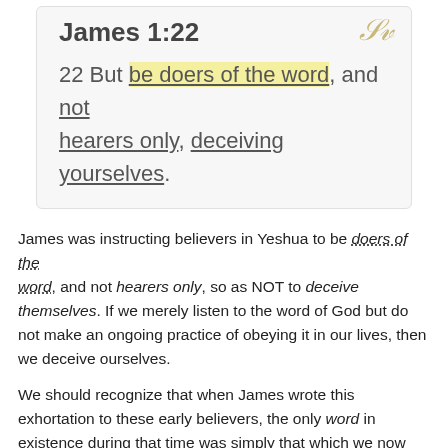James 1:22
22 But be doers of the word, and not hearers only, deceiving yourselves.
James was instructing believers in Yeshua to be doers of the word, and not hearers only, so as NOT to deceive themselves. If we merely listen to the word of God but do not make an ongoing practice of obeying it in our lives, then we deceive ourselves.
We should recognize that when James wrote this exhortation to these early believers, the only word in existence during that time was simply that which we now call our 'Old Testament' scriptures. Therefore, James was instructing believers in the Messiah Yeshua to be doers of